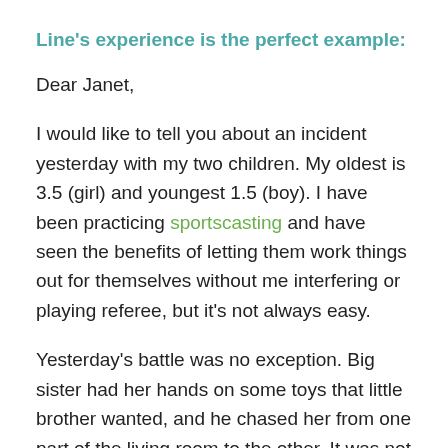Line's experience is the perfect example:
Dear Janet,
I would like to tell you about an incident yesterday with my two children. My oldest is 3.5 (girl) and youngest 1.5 (boy). I have been practicing sportscasting and have seen the benefits of letting them work things out for themselves without me interfering or playing referee, but it's not always easy.
Yesterday's battle was no exception. Big sister had her hands on some toys that little brother wanted, and he chased her from one part of the living room to the other. It was not a game. He was really crying hard because she wouldn't share. She ran away from him, not gloating